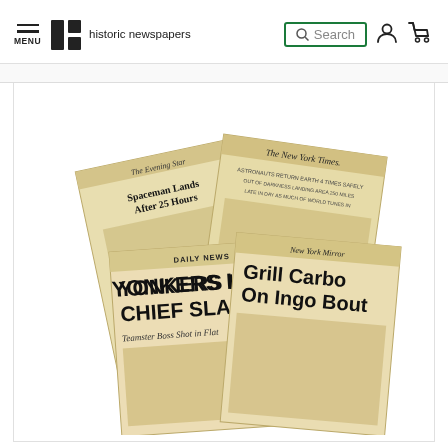MENU | historic newspapers | Search
[Figure (photo): Stack of vintage historic newspapers including The Evening Star ('Spaceman Lands After 25 Hours'), The New York Times, Daily News ('YONKERS LABOR CHIEF SLAIN - Teamster Boss Shot in Flat'), and New York Mirror ('Grill Carbo On Ingo Bout')]